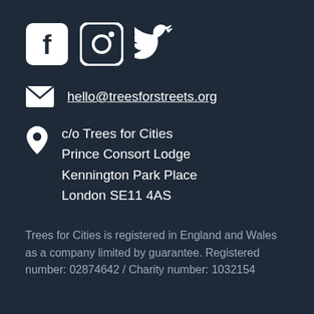[Figure (logo): Social media icons: Facebook, Instagram, Twitter (white on dark background)]
hello@treesforstreets.org
c/o Trees for Cities
Prince Consort Lodge
Kennington Park Place
London SE11 4AS
Trees for Cities is registered in England and Wales as a company limited by guarantee. Registered number: 02874642 / Charity number: 1032154